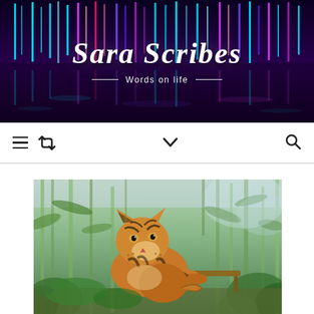[Figure (photo): Blog header banner with colorful illuminated fountain light streaks (cyan, pink, purple) at night with water reflections, overlaid with blog title text]
Sara Scribes
Words on life
[Figure (screenshot): Website navigation bar with hamburger menu icon, retweet/refresh icon on left, chevron/down arrow in center, and search icon on right]
[Figure (photo): A tiger standing in a lush green bamboo forest enclosure, looking upward, with vegetation and wooden structures around it]